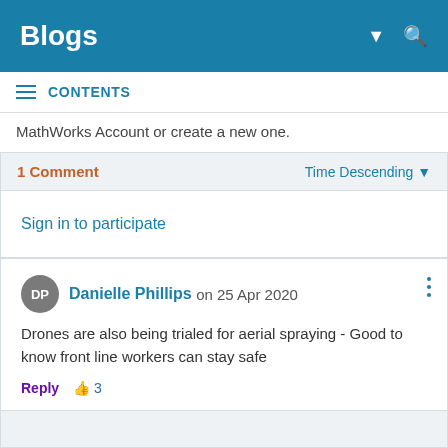Blogs
CONTENTS
MathWorks Account or create a new one.
1 Comment   Time Descending
Sign in to participate
Danielle Phillips on 25 Apr 2020
Drones are also being trialed for aerial spraying - Good to know front line workers can stay safe
Reply  3